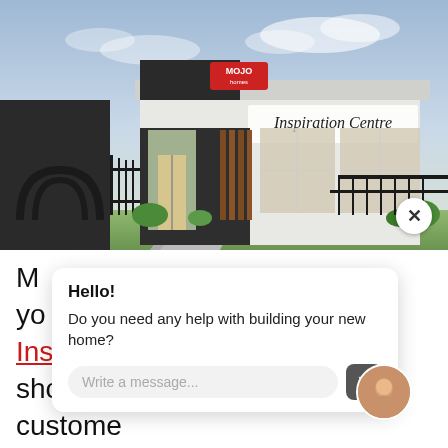[Figure (photo): Exterior photo of a modern building with 'MOJO Homes' branding and 'Inspiration Centre' signage, featuring dark cladding, glass frontage, timber screens, landscaped garden, and a pathway under a cloudy sky.]
Ma[pping the future of] [our] [famil]y [and] [our] Inspiration Centre. a one stop shop for custome[rs where] innovation come to life. Located in Box Hill, a major growth area in Sydney for
Hello!
Do you need any help with building your new home?
Write a message...